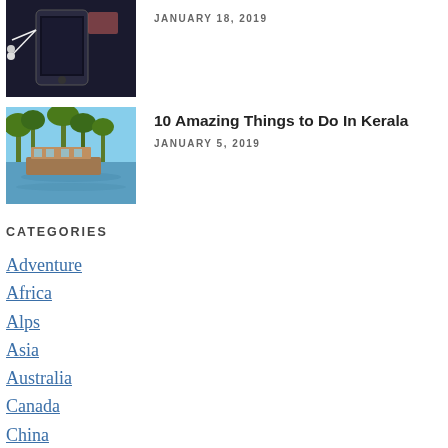[Figure (photo): Phone with earbuds on dark background]
JANUARY 18, 2019
[Figure (photo): Houseboat on Kerala backwaters with palm trees]
10 Amazing Things to Do In Kerala
JANUARY 5, 2019
CATEGORIES
Adventure
Africa
Alps
Asia
Australia
Canada
China
Destinations